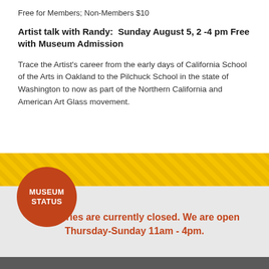Free for Members; Non-Members $10
Artist talk with Randy:  Sunday August 5, 2 -4 pm Free with Museum Admission
Trace the Artist’s career from the early days of California School of the Arts in Oakland to the Pilchuck School in the state of Washington to now as part of the Northern California and American Art Glass movement.
[Figure (infographic): Yellow decorative banner with repeating diamond/tile pattern, a red circle badge labeled MUSEUM STATUS overlapping the bottom of the banner and the gray section below.]
All galleries are currently closed. We are open Thursday-Sunday 11am - 4pm.